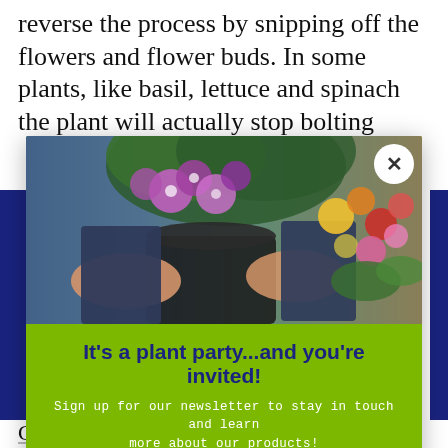reverse the process by snipping off the flowers and flower buds. In some plants, like basil, lettuce and spinach the plant will actually stop bolting
[Figure (photo): Person holding a pot of purple petunia flowers in a garden center with colorful flowers in the background]
It's a plant party...and you're invited!
Sign up for our newsletter to stay in touch and learn more about our products!
Enter your email address
SUBSCRIBE NOW
No, thanks
Contact